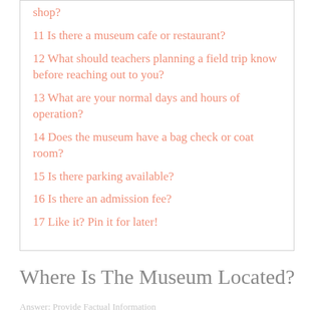shop?
11 Is there a museum cafe or restaurant?
12 What should teachers planning a field trip know before reaching out to you?
13 What are your normal days and hours of operation?
14 Does the museum have a bag check or coat room?
15 Is there parking available?
16 Is there an admission fee?
17 Like it? Pin it for later!
Where Is The Museum Located?
Answer: Provide Factual Information